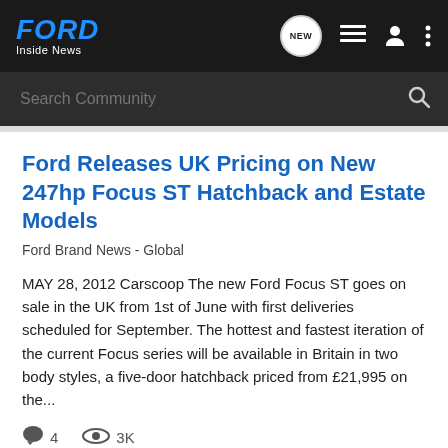FORD Inside News
Ford Releases UK Pricing on New 247hp Focus ST Hatchback and Estate Models
Ford Brand News - Global
MAY 28, 2012 Carscoop The new Ford Focus ST goes on sale in the UK from 1st of June with first deliveries scheduled for September. The hottest and fastest iteration of the current Focus series will be available in Britain in two body styles, a five-door hatchback priced from £21,995 on the...
4  3K
ausrutherford · May 28, 2012
247hp  estate  focus  hatchback  models  pricing  releases